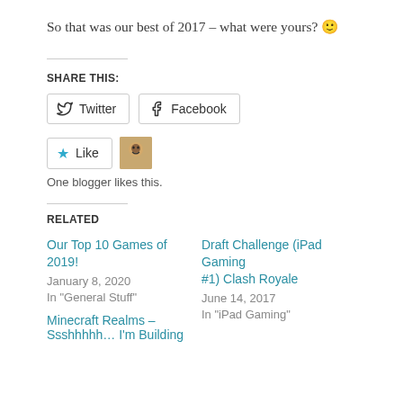So that was our best of 2017 – what were yours? 🙂
SHARE THIS:
Twitter | Facebook (share buttons)
Like | One blogger likes this.
RELATED
Our Top 10 Games of 2019!
January 8, 2020
In "General Stuff"
Draft Challenge (iPad Gaming #1) Clash Royale
June 14, 2017
In "iPad Gaming"
Minecraft Realms – Ssshhhhh… I'm Building